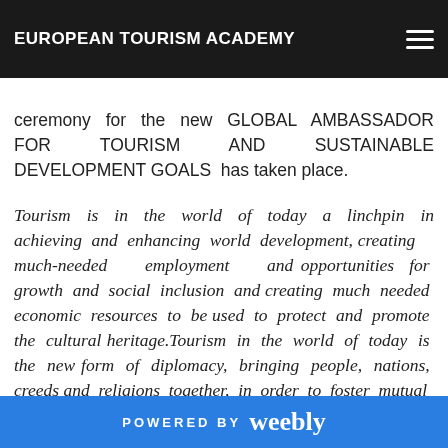EUROPEAN TOURISM ACADEMY
In the presence of more than 3000 guests, diplomats, tourism and culture experts, the official ceremony for the new GLOBAL AMBASSADOR FOR TOURISM AND SUSTAINABLE DEVELOPMENT GOALS has taken place.
Tourism is in the world of today a linchpin in achieving and enhancing world development, creating much-needed employment and opportunities for growth and social inclusion and creating much needed economic resources to be used to protect and promote the cultural heritage.Tourism in the world of today is the new form of diplomacy, bringing people, nations, creeds and religions together, in order to foster mutual
POWERED BY weebly